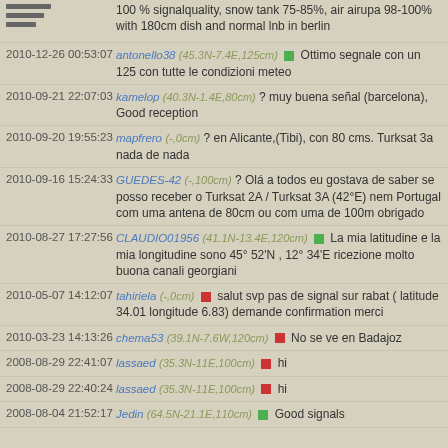[Figure (other): Hamburger menu icon with three horizontal bars]
100 % signalquality, snow tank 75-85%, air airupa 98-100% with 180cm dish and normal lnb in berlin
2010-12-26 00:53:07 antonello38 (45.3N-7.4E,125cm) [green] Ottimo segnale con un 125 con tutte le condizioni meteo
2010-09-21 22:07:03 kamelop (40.3N-1.4E,80cm) ? muy buena señal (barcelona), Good reception
2010-09-20 19:55:23 mapfrero (-,0cm) ? en Alicante,(Tibi), con 80 cms. Turksat 3a nada de nada
2010-09-16 15:24:33 GUEDES-42 (-,100cm) ? Olá a todos eu gostava de saber se posso receber o Turksat 2A / Turksat 3A (42°E) nem Portugal com uma antena de 80cm ou com uma de 100m obrigado
2010-08-27 17:27:56 CLAUDIO01956 (41.1N-13.4E,120cm) [green] La mia latitudine e la mia longitudine sono 45° 52'N , 12° 34'E ricezione molto buona canali georgiani
2010-05-07 14:12:07 tahiriela (-,0cm) [red] salut svp pas de signal sur rabat ( latitude 34.01 longitude 6.83) demande confirmation merci
2010-03-23 14:13:26 chema53 (39.1N-7.6W,120cm) [red] No se ve en Badajoz
2008-08-29 22:41:07 lassaed (35.3N-11E,100cm) [red] hi
2008-08-29 22:40:24 lassaed (35.3N-11E,100cm) [red] hi
2008-08-04 21:52:17 Jedin (64.5N-21.1E,110cm) [green] Good signals